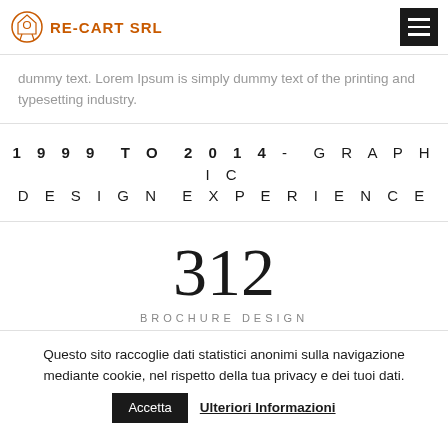RE-CART SRL
dummy text. Lorem Ipsum is simply dummy text of the printing and typesetting industry.
1999 TO 2014 - GRAPHIC DESIGN EXPERIENCE
312
BROCHURE DESIGN
Questo sito raccoglie dati statistici anonimi sulla navigazione mediante cookie, nel rispetto della tua privacy e dei tuoi dati. Accetta Ulteriori Informazioni